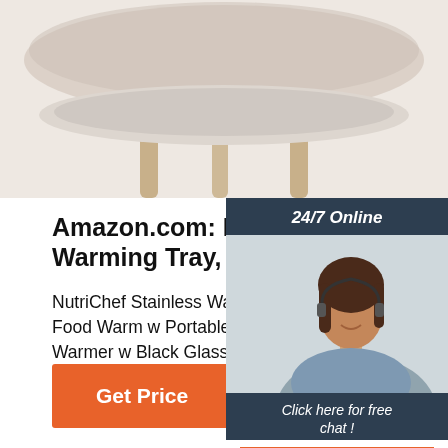[Figure (photo): Product photo showing the underside of a stainless warming tray with wooden legs on a light beige background]
[Figure (photo): Chat widget showing a woman with headset smiling, with '24/7 Online' header, 'Click here for free chat!' text, and an orange QUOTATION button]
Amazon.com: NutriChef Electr Warming Tray, Food Warmer ..
NutriChef Stainless Warming Hot Plate Food Warm w Portable Electric Food T Warmer w Black Glass Top, For Resta Parties, Buffet Serving, Table or Coun - AZPKWTR45 5.0 out of 5 stars 16
[Figure (other): Orange 'Get Price' button]
[Figure (logo): TOP logo with orange dot triangle pattern above the text 'TOP']